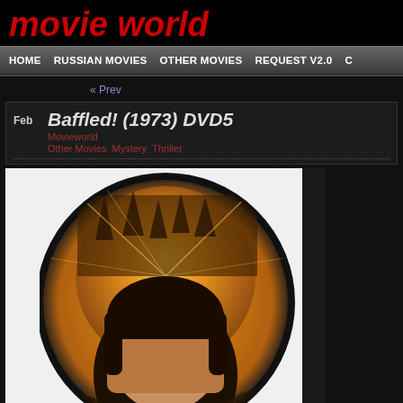movie world
HOME  RUSSIAN MOVIES  OTHER MOVIES  REQUEST V2.0  C
« Prev
Baffled! (1973) DVD5
Movieworld
Other Movies  Mystery  Thriller
[Figure (photo): Movie poster for Baffled! (1973) showing a circular orange/gold design with a person's face in the foreground and gothic-style buildings in the background]